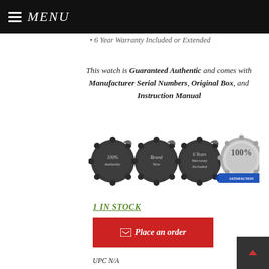MENU
6 Year Warranty Included or Extended
This watch is Guaranteed Authentic and comes with Manufacturer Serial Numbers, Original Box, and Instruction Manual
[Figure (illustration): Four badge icons: 100% Authentic (dark seal), Brand New (dark seal), 6 Years Warranty Included (dark seal), 100% Satisfaction Guarantee (silver seal with blue ribbon)]
1 IN STOCK
Place an order
UPC N/A
SKU: 36533
Categories: Watches, Automatic Luxury Watches Collection, BREITLING BENTLEY SUPERSPORTS